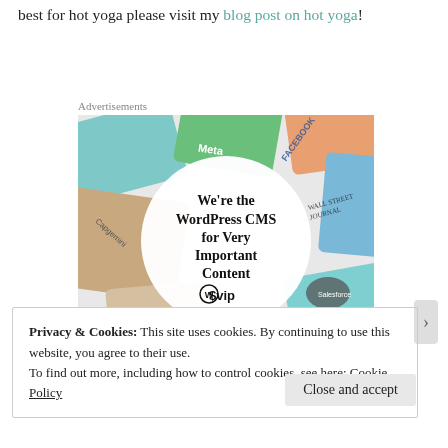best for hot yoga please visit my blog post on hot yoga!
Advertisements
[Figure (other): WordPress VIP advertisement banner showing colorful cards with brand logos (Meta, Facebook, Capgemini, Salesforce, Wall Street Journal) arranged around a white circle with text: We're the WordPress CMS for Very Important Content, with the WordPress VIP logo and a Learn more button]
Privacy & Cookies: This site uses cookies. By continuing to use this website, you agree to their use.
To find out more, including how to control cookies, see here: Cookie Policy
Close and accept